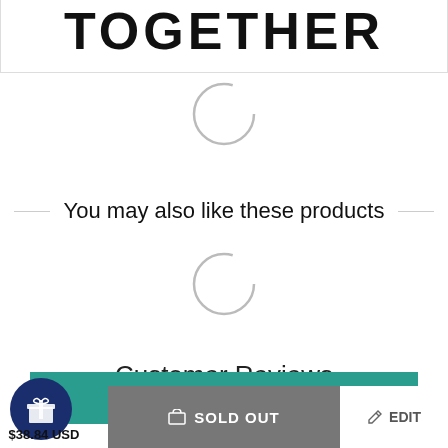TOGETHER
[Figure (illustration): Loading spinner circle (partial arc, gray)]
You may also like these products
[Figure (illustration): Loading spinner circle (partial arc, gray)]
Customer Reviews
[Figure (illustration): Five empty star rating icons in gold/yellow outline]
Be the first to write a review
Write a review
$38.84 USD
SOLD OUT
EDIT